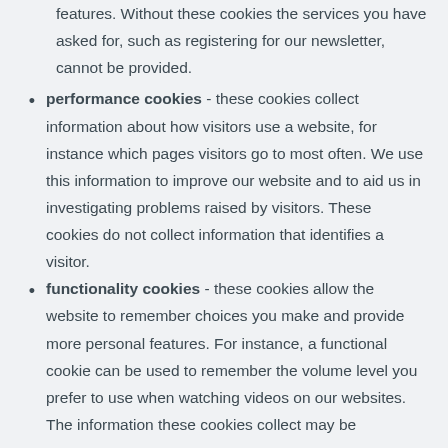features.  Without these cookies the services you have asked for, such as registering for our newsletter, cannot be provided.
performance cookies - these cookies collect information about how visitors use a website, for instance which pages visitors go to most often.  We use this information to improve our website and to aid us in investigating problems raised by visitors.  These cookies do not collect information that identifies a visitor.
functionality cookies - these cookies allow the website to remember choices you make and provide more personal features.  For instance, a functional cookie can be used to remember the volume level you prefer to use when watching videos on our websites.  The information these cookies collect may be